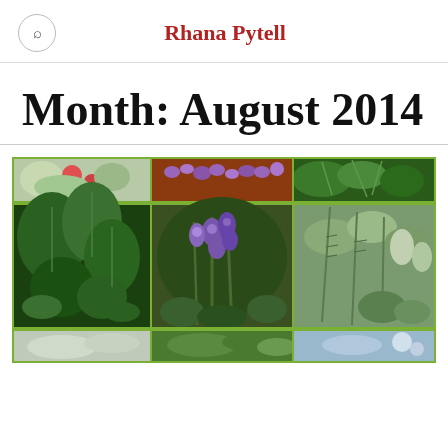Rhana Pytell
Month: August 2014
[Figure (photo): Collage of herb garden photos arranged in a 3x3 grid with green border, showing various herbs including leafy greens, purple flowering sage, rosemary, and other culinary herbs]